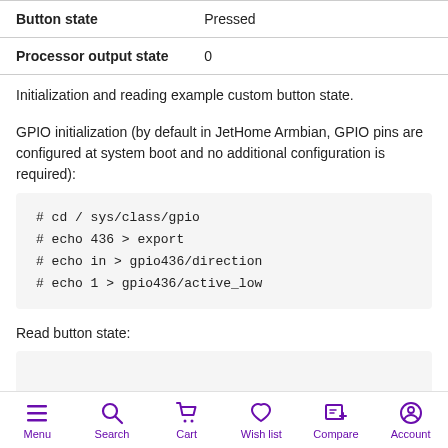|  |  |
| --- | --- |
| Button state | Pressed |
| Processor output state | 0 |
Initialization and reading example custom button state.
GPIO initialization (by default in JetHome Armbian, GPIO pins are configured at system boot and no additional configuration is required):
# cd / sys/class/gpio
# echo 436 > export
# echo in > gpio436/direction
# echo 1 > gpio436/active_low
Read button state: